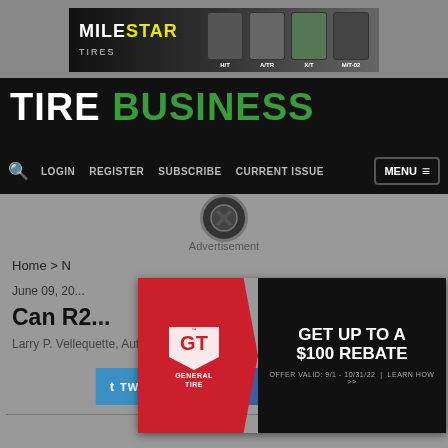[Figure (photo): Milestar Tires advertisement banner showing tire product lineup (H/T, A/TR, X/T, M/T-02)]
TIRE BUSINESS
LOGIN  REGISTER  SUBSCRIBE  CURRENT ISSUE  MENU
Advertisement
Home > News
June 09, 20...
Can R2...
Larry P. Vellequette, Automotive News
[Figure (photo): General Tire advertisement: GET UP TO A $100 REBATE. OFFER VALID: 9/1 - 10/31/22 | LEARN HOW >>]
TWEET  SHARE  MORE